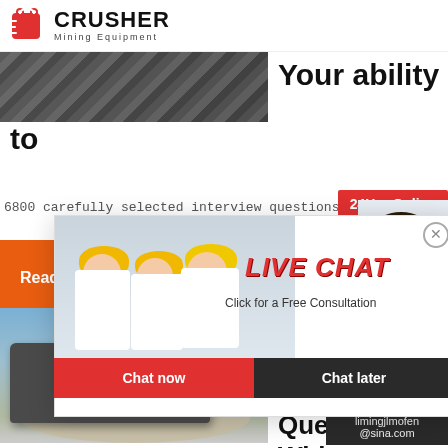[Figure (logo): Crusher Mining Equipment logo with red shopping bag icon and bold CRUSHER text]
[Figure (photo): Industrial mining equipment/conveyor belt, top section visible]
Your ability to
6800 carefully selected interview questions in v...
[Figure (infographic): 24Hrs Online badge in red]
[Figure (photo): Live Chat popup with workers in hard hats: LIVE CHAT / Click for a Free Consultation]
[Figure (photo): Chat agent woman with headset on right side]
Read M...
[Figure (infographic): Chat now and Chat later buttons]
[Figure (photo): Mining/crushing equipment with material pile, outdoor setting]
Metallurgical Engineering Interview Questions With Answers
[Figure (infographic): Right panel: Need questions & suggestion? Chat Now button, Enquiry link, limingjlmofen@sina.com]